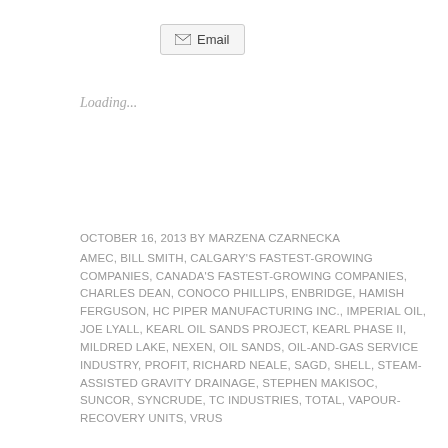[Figure (other): Email button with envelope icon]
Loading...
OCTOBER 16, 2013 BY MARZENA CZARNECKA
AMEC, BILL SMITH, CALGARY'S FASTEST-GROWING COMPANIES, CANADA'S FASTEST-GROWING COMPANIES, CHARLES DEAN, CONOCO PHILLIPS, ENBRIDGE, HAMISH FERGUSON, HC PIPER MANUFACTURING INC., IMPERIAL OIL, JOE LYALL, KEARL OIL SANDS PROJECT, KEARL PHASE II, MILDRED LAKE, NEXEN, OIL SANDS, OIL-AND-GAS SERVICE INDUSTRY, PROFIT, RICHARD NEALE, SAGD, SHELL, STEAM-ASSISTED GRAVITY DRAINAGE, STEPHEN MAKISOC, SUNCOR, SYNCRUDE, TC INDUSTRIES, TOTAL, VAPOUR-RECOVERY UNITS, VRUS